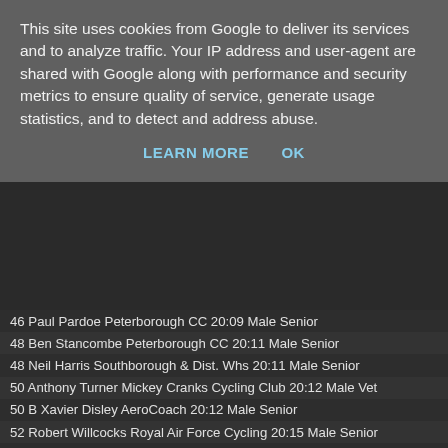This site uses cookies from Google to deliver its services and to analyze traffic. Your IP address and user-agent are shared with Google along with performance and security metrics to ensure quality of service, generate usage statistics, and to detect and address abuse.
LEARN MORE   OK
46 Paul Pardoe Peterborough CC 20:09 Male Senior
48 Ben Stancombe Peterborough CC 20:11 Male Senior
48 Neil Harris Southborough & Dist. Whs 20:11 Male Senior
50 Anthony Turner Mickey Cranks Cycling Club 20:12 Male Vet
50 B Xavier Disley AeroCoach 20:12 Male Senior
52 Robert Willcocks Royal Air Force Cycling 20:15 Male Senior
53 Chris Smart GTR – Return To Life 20:19 Male Senior
54 Luke Norris Banbury Star Cyclists' Club 20:21 Male Senior
54 Ryan Davies AS Test Team 20:21 Male Senior
56 Will Bjergfelt SwiftCarbon Pro Cycling 20:22 Male C5
57 Marinus Petersen Loughborough Students 20:23 Male Espoir
57 Chris Loake AeroCoach 20:23 Male Vet
59 Adam Bidwell Kingston Wheelers CC 20:24 Male Vet
59 Josh Griffiths Bikestrong-KTM 20:24 Male Espoir
61 Justin Layne AS Test Team 20:25 Male Vet
61 Jonathan Gates Royal Air Force Cycling Association 20:25 M...